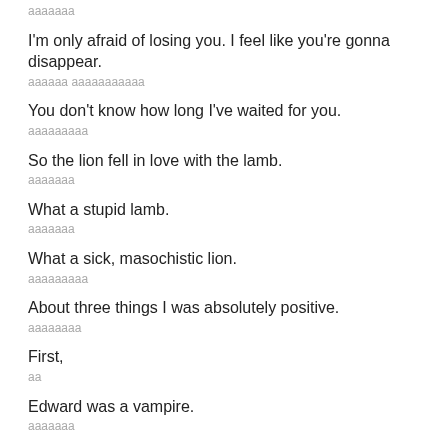ааааааа
I'm only afraid of losing you. I feel like you're gonna disappear.
аааааа ааааааааааа
You don't know how long I've waited for you.
ааааааааа
So the lion fell in love with the lamb.
ааааааа
What a stupid lamb.
ааааааа
What a sick, masochistic lion.
ааааааааа
About three things I was absolutely positive.
аааааааа
First,
аа
Edward was a vampire.
ааааааа